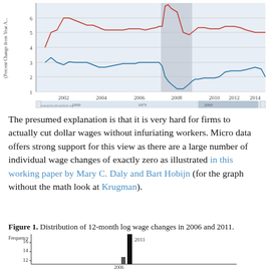[Figure (line-chart): Two line chart showing percent change year-over-year from 2001 to 2015. Red line ranges roughly 4-7%, blue line ranges roughly 1-3.5%. Shaded recession region around 2008-2009. Mini navigator at bottom showing 1950-2000+ range.]
The presumed explanation is that it is very hard for firms to actually cut dollar wages without infuriating workers. Micro data offers strong support for this view as there are a large number of individual wage changes of exactly zero as illustrated in this working paper by Mary C. Daly and Bart Hobijn (for the graph without the math look at Krugman).
Figure 1. Distribution of 12-month log wage changes in 2006 and 2011.
[Figure (histogram): Histogram showing frequency distribution with bars for 2006 and 2011. Y-axis labeled Frequency with values 12, 14, 16. A tall bar at zero for 2011 is highlighted. 2006 bar also visible.]